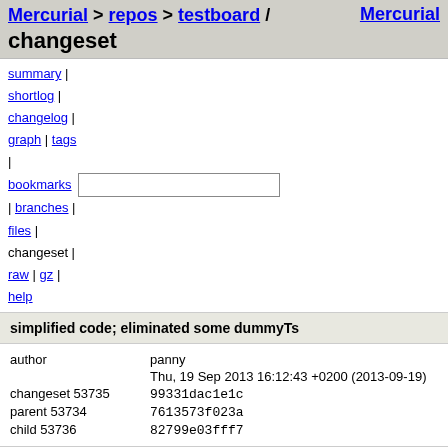Mercurial > repos > testboard / changeset   Mercurial
summary | shortlog | changelog | graph | tags | bookmarks | branches | files | changeset | raw | gz | help
simplified code; eliminated some dummyTs
| field | value |
| --- | --- |
| author | panny |
|  | Thu, 19 Sep 2013 16:12:43 +0200 (2013-09-19) |
| changeset 53735 | 99331dac1e1c |
| parent 53734 | 7613573f023a |
| child 53736 | 82799e03fff7 |
simplified code; eliminated some dummyTs
src/HOL/BNF/Tools/bnf_fp_rec_sugar.ML   file | annotate | diff | comparison | revisions